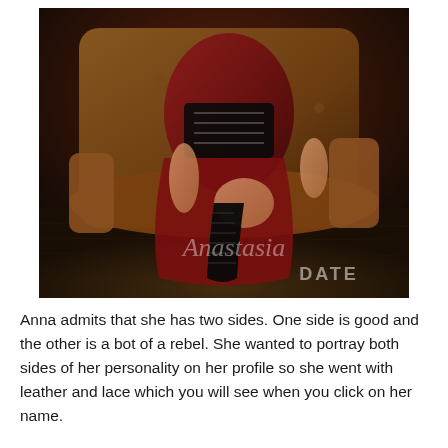[Figure (photo): A woman in a dark red/burgundy gown with a black corset and black thigh-high lace-up boots, seated on a brown leather tufted armchair. The photo has an Anastasia DATE watermark in the lower right corner.]
Anna admits that she has two sides. One side is good and the other is a bot of a rebel. She wanted to portray both sides of her personality on her profile so she went with leather and lace which you will see when you click on her name.